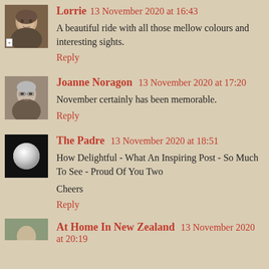[Figure (photo): Avatar photo of Lorrie, a woman with gray hair]
Lorrie 13 November 2020 at 16:43
A beautiful ride with all those mellow colours and interesting sights.
Reply
[Figure (photo): Avatar photo of Joanne Noragon, an older woman with glasses]
Joanne Noragon 13 November 2020 at 17:20
November certainly has been memorable.
Reply
[Figure (photo): Avatar image of The Padre, a white ball/sphere on black background]
The Padre 13 November 2020 at 18:51
How Delightful - What An Inspiring Post - So Much To See - Proud Of You Two

Cheers
Reply
[Figure (photo): Partial avatar of At Home In New Zealand commenter]
At Home In New Zealand 13 November 2020 at 20:19